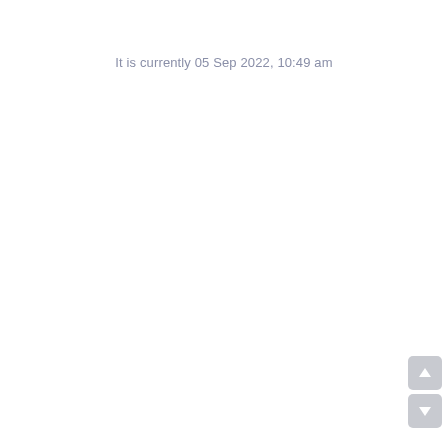It is currently 05 Sep 2022, 10:49 am
[Figure (other): Scroll up button (upward arrow on grey rounded rectangle)]
[Figure (other): Scroll down button (downward arrow on grey rounded rectangle)]